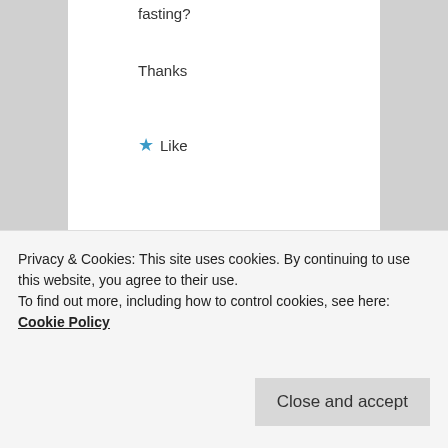fasting?
Thanks
Like
esmeelafleur on January 12, 2018 at 5:46 PM said:
Privacy & Cookies: This site uses cookies. By continuing to use this website, you agree to their use.
To find out more, including how to control cookies, see here: Cookie Policy
Close and accept
comfortably warm. If